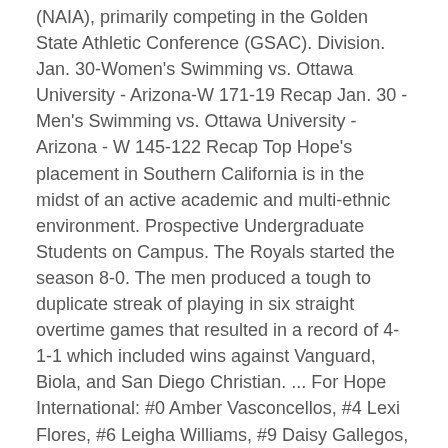(NAIA), primarily competing in the Golden State Athletic Conference (GSAC). Division. Jan. 30-Women's Swimming vs. Ottawa University - Arizona-W 171-19 Recap Jan. 30 - Men's Swimming vs. Ottawa University - Arizona - W 145-122 Recap Top Hope's placement in Southern California is in the midst of an active academic and multi-ethnic environment. Prospective Undergraduate Students on Campus. The Royals started the season 8-0. The men produced a tough to duplicate streak of playing in six straight overtime games that resulted in a record of 4-1-1 which included wins against Vanguard, Biola, and San Diego Christian. ... For Hope International: #0 Amber Vasconcellos, #4 Lexi Flores, #6 Leigha Williams, #9 Daisy Gallegos, #10 Cassie Soto, #14 Natalie Valdez, #20 Maggie Bender, #21 Rebecca Caudillo, #23 Gissell Avila, #25 Erika Guzman, #33 Luli Bettencourt. Official Athletics site of Hope International Royals M. Soccer Season 2020-